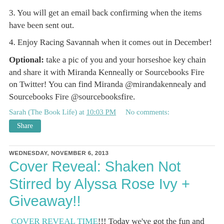3. You will get an email back confirming when the items have been sent out.
4. Enjoy Racing Savannah when it comes out in December!
Optional: take a pic of you and your horseshoe key chain and share it with Miranda Kenneally or Sourcebooks Fire on Twitter! You can find Miranda @mirandakennealy and Sourcebooks Fire @sourcebooksfire.
Sarah (The Book Life) at 10:03 PM    No comments:
Share
WEDNESDAY, NOVEMBER 6, 2013
Cover Reveal: Shaken Not Stirred by Alyssa Rose Ivy + Giveaway!!
COVER REVEAL TIME!!! Today we've got the fun and yummy cover for Alyssa Rose Ivy's upcoming